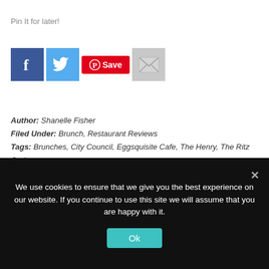Pin It for later!
[Figure (infographic): Social sharing buttons: Facebook, Twitter, Pinterest Save, and Email icons]
Author: Shanelle Fisher
Filed Under: Brunch, Restaurant Reviews
Tags: Brunches, City Council, Eggsquisite Cafe, The Henry, The Ritz Carlton
We use cookies to ensure that we give you the best experience on our website. If you continue to use this site we will assume that you are happy with it.